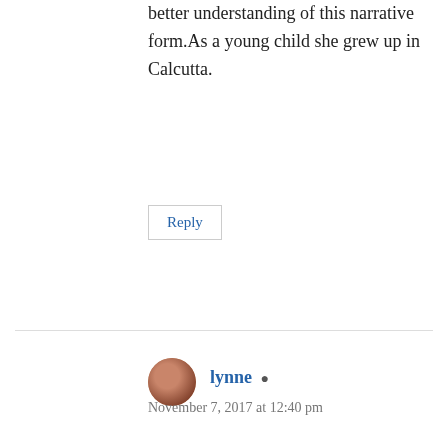better understanding of this narrative form.As a young child she grew up in Calcutta.
Reply
lynne
November 7, 2017 at 12:40 pm
Hi Meera,
This all sounds fascinating. I am sorry about the delay in replying. I didn't get notification of this comment. I am not in Eltham very often – it is a long way from Sout…